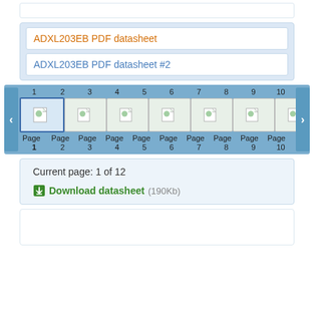[Figure (screenshot): Top white bar area]
ADXL203EB PDF datasheet
ADXL203EB PDF datasheet #2
[Figure (screenshot): Page thumbnail navigator strip showing pages 1-10 with navigation arrows]
Current page: 1 of 12
Download datasheet (190Kb)
[Figure (screenshot): Empty white content box at bottom]